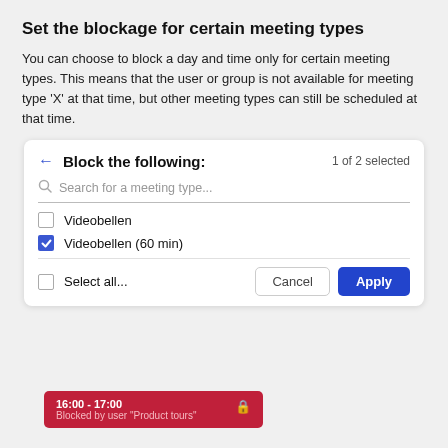Set the blockage for certain meeting types
You can choose to block a day and time only for certain meeting types. This means that the user or group is not available for meeting type 'X' at that time, but other meeting types can still be scheduled at that time.
[Figure (screenshot): A UI dialog panel titled 'Block the following:' with '1 of 2 selected' on the right, a search box with placeholder 'Search for a meeting type...', two checkbox rows: 'Videobellen' (unchecked) and 'Videobellen (60 min)' (checked, blue), a divider, then a bottom row with a 'Select all...' unchecked checkbox, a 'Cancel' button, and a blue 'Apply' button.]
[Figure (screenshot): A red blocked time banner showing '16:00 - 17:00' and 'Blocked by user "Product tours"' with a lock icon on the right.]